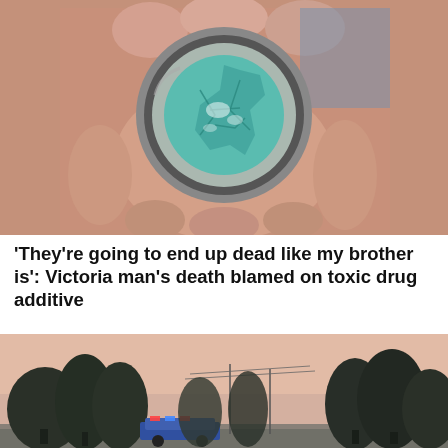[Figure (photo): Close-up photo of a hand holding a small clear container with a blue-green substance inside, viewed from above. The container appears to be a pill cap or small cup showing cracked turquoise/teal coloured drug substance. Background includes a blue fabric.]
'They're going to end up dead like my brother is': Victoria man's death blamed on toxic drug additive
[Figure (photo): Outdoor scene with a row of dark conifer trees silhouetted against a pinkish-orange sky at dusk or dawn. A police vehicle with lights visible is parked near the treeline. Power lines visible in the background.]